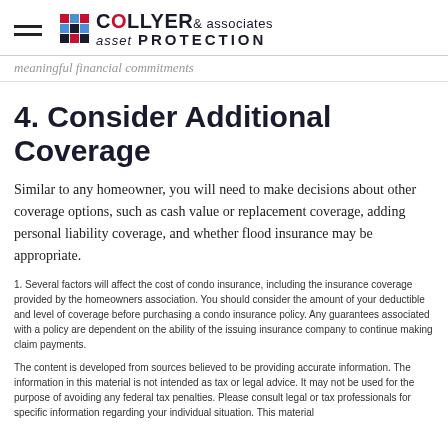Collyer & associates asset PROTECTION
meaningful financial commitments
4. Consider Additional Coverage
Similar to any homeowner, you will need to make decisions about other coverage options, such as cash value or replacement coverage, adding personal liability coverage, and whether flood insurance may be appropriate.
1. Several factors will affect the cost of condo insurance, including the insurance coverage provided by the homeowners association. You should consider the amount of your deductible and level of coverage before purchasing a condo insurance policy. Any guarantees associated with a policy are dependent on the ability of the issuing insurance company to continue making claim payments.
The content is developed from sources believed to be providing accurate information. The information in this material is not intended as tax or legal advice. It may not be used for the purpose of avoiding any federal tax penalties. Please consult legal or tax professionals for specific information regarding your individual situation. This material